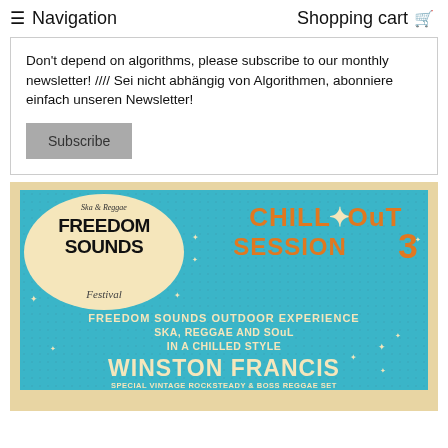≡ Navigation    Shopping cart 🛒
Don't depend on algorithms, please subscribe to our monthly newsletter! //// Sei nicht abhängig von Algorithmen, abonniere einfach unseren Newsletter!
Subscribe
[Figure (illustration): Freedom Sounds Festival – Ska & Reggae – Chill Out Session 3 event poster with blue background and cream/orange typography, featuring Winston Francis performing a Special Vintage Rocksteady & Boss Reggae Set at Freedom Sounds Outdoor Experience.]